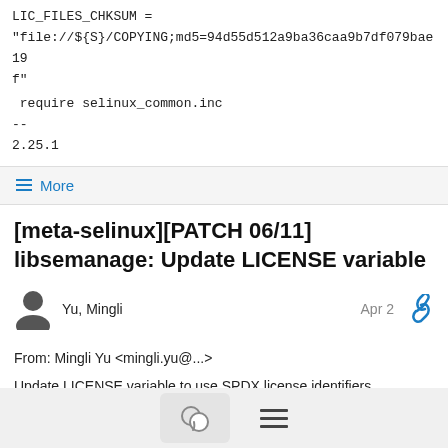LIC_FILES_CHKSUM =
"file://${S}/COPYING;md5=94d55d512a9ba36caa9b7df079bae19f"
require selinux_common.inc
--
2.25.1
≡ More
[meta-selinux][PATCH 06/11] libsemanage: Update LICENSE variable
Yu, Mingli
Apr 2
From: Mingli Yu <mingli.yu@...>
Update LICENSE variable to use SPDX license identifiers.